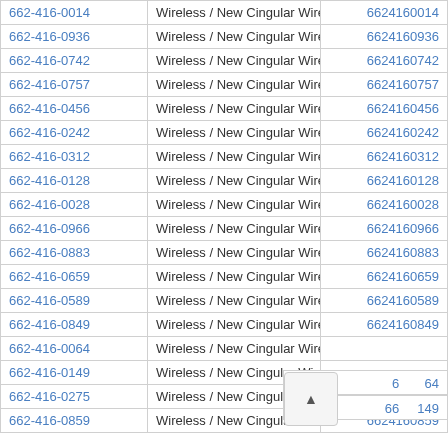| 662-416-0014 | Wireless / New Cingular Wireless PCS - GA | 6624160014 |
| 662-416-0936 | Wireless / New Cingular Wireless PCS - GA | 6624160936 |
| 662-416-0742 | Wireless / New Cingular Wireless PCS - GA | 6624160742 |
| 662-416-0757 | Wireless / New Cingular Wireless PCS - GA | 6624160757 |
| 662-416-0456 | Wireless / New Cingular Wireless PCS - GA | 6624160456 |
| 662-416-0242 | Wireless / New Cingular Wireless PCS - GA | 6624160242 |
| 662-416-0312 | Wireless / New Cingular Wireless PCS - GA | 6624160312 |
| 662-416-0128 | Wireless / New Cingular Wireless PCS - GA | 6624160128 |
| 662-416-0028 | Wireless / New Cingular Wireless PCS - GA | 6624160028 |
| 662-416-0966 | Wireless / New Cingular Wireless PCS - GA | 6624160966 |
| 662-416-0883 | Wireless / New Cingular Wireless PCS - GA | 6624160883 |
| 662-416-0659 | Wireless / New Cingular Wireless PCS - GA | 6624160659 |
| 662-416-0589 | Wireless / New Cingular Wireless PCS - GA | 6624160589 |
| 662-416-0849 | Wireless / New Cingular Wireless PCS - GA | 6624160849 |
| 662-416-0064 | Wireless / New Cingular Wireless PCS - GA | 6624160064 |
| 662-416-0149 | Wireless / New Cingular Wireless PCS - GA | 6624160149 |
| 662-416-0275 | Wireless / New Cingular Wireless PCS - GA | 6624160275 |
| 662-416-0859 | Wireless / New Cingular Wireless PCS - GA | 6624160859 |